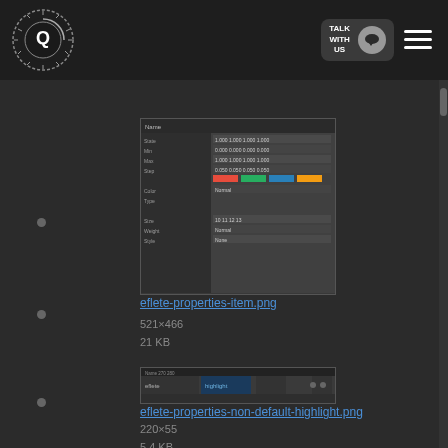[Figure (screenshot): Website header with circular logo on left, 'TALK WITH US' button with chat bubble icon, and hamburger menu on right, dark background]
[Figure (screenshot): Thumbnail of eflete-properties-item.png showing a dark-themed properties panel with table data]
eflete-properties-item.png
521×466
21 KB
[Figure (screenshot): Thumbnail of eflete-properties-non-default-highlight.png showing a narrow dark toolbar highlight]
eflete-properties-non-default-highlight.png
220×55
5.4 KB
[Figure (screenshot): Thumbnail of eflete-properties-part.png showing a dark-themed properties panel]
eflete-properties-part.png
580×482